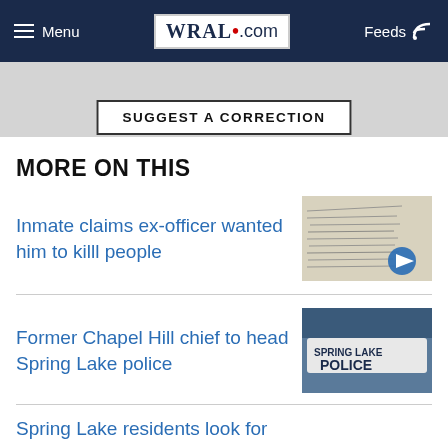Menu | WRAL.com | Feeds
SUGGEST A CORRECTION
MORE ON THIS
Inmate claims ex-officer wanted him to killl people
Former Chapel Hill chief to head Spring Lake police
Spring Lake residents look for